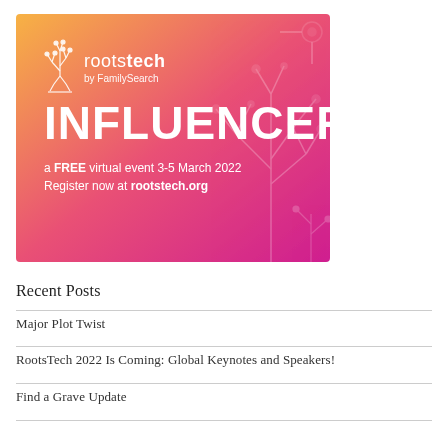[Figure (illustration): RootsTech by FamilySearch Influencer banner. Gradient background from orange to magenta/pink with decorative circuit-tree patterns. White text reads: rootstech by FamilySearch, INFLUENCER, a FREE virtual event 3-5 March 2022, Register now at rootstech.org]
Recent Posts
Major Plot Twist
RootsTech 2022 Is Coming: Global Keynotes and Speakers!
Find a Grave Update